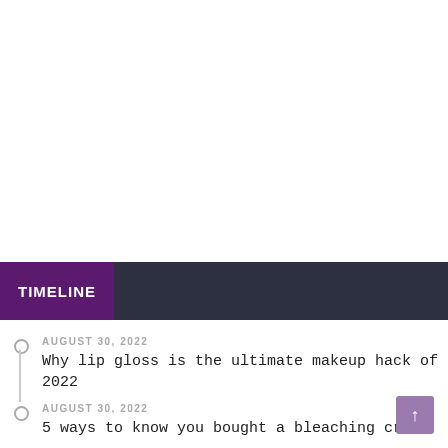TIMELINE
AUGUST 30, 2022
Why lip gloss is the ultimate makeup hack of 2022
AUGUST 30, 2022
5 ways to know you bought a bleaching cream